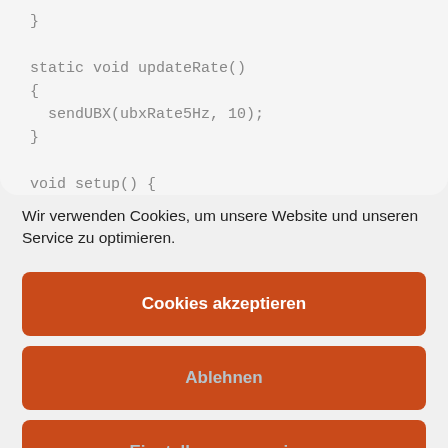[Figure (screenshot): Code snippet showing static void updateRate() { sendUBX(ubxRate5Hz, 10); } and void setup() { in monospace font on light gray background]
Wir verwenden Cookies, um unsere Website und unseren Service zu optimieren.
Cookies akzeptieren
Ablehnen
Einstellungen anzeigen
Cookie-Richtlinie  Datenschutzerklärung  Impressum